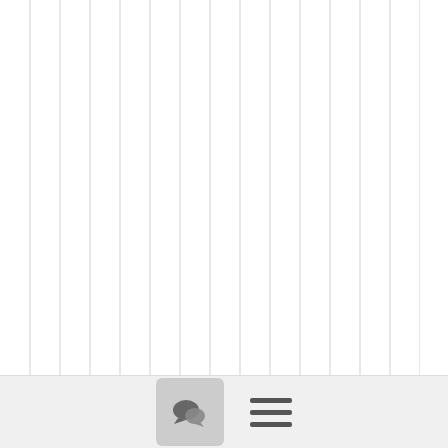[Figure (other): Vertical stripes/lines background pattern on the left portion of the page]
ratessystemsintegration.
[Figure (other): Chat/comment bubble icon in a gray rounded square button]
[Figure (other): Hamburger menu icon (three horizontal lines)]